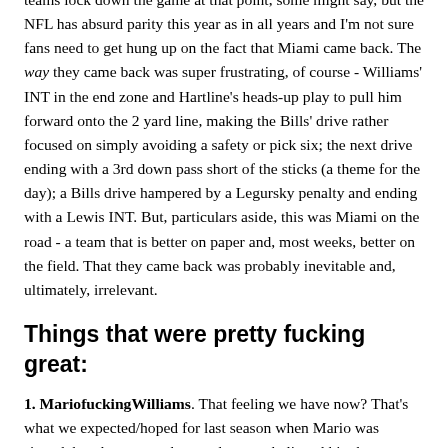teams lock down the game at that point, some might say, but the NFL has absurd parity this year as in all years and I'm not sure fans need to get hung up on the fact that Miami came back. The way they came back was super frustrating, of course - Williams' INT in the end zone and Hartline's heads-up play to pull him forward onto the 2 yard line, making the Bills' drive rather focused on simply avoiding a safety or pick six; the next drive ending with a 3rd down pass short of the sticks (a theme for the day); a Bills drive hampered by a Legursky penalty and ending with a Lewis INT. But, particulars aside, this was Miami on the road - a team that is better on paper and, most weeks, better on the field. That they came back was probably inevitable and, ultimately, irrelevant.
Things that were pretty fucking great:
1. MariofuckingWilliams. That feeling we have now? That's what we expected/hoped for last season when Mario was signed, but the guy got hurt and no one believed him because we're GD morons, and now we're seeing why he got paid.
After setting the franchise record for most sacks in a game Week 2, his